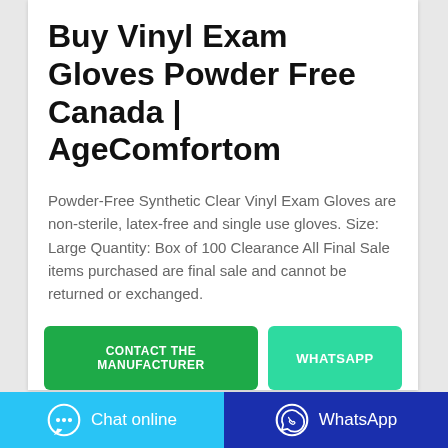Buy Vinyl Exam Gloves Powder Free Canada | AgeComfortom
Powder-Free Synthetic Clear Vinyl Exam Gloves are non-sterile, latex-free and single use gloves. Size: Large Quantity: Box of 100 Clearance All Final Sale items purchased are final sale and cannot be returned or exchanged.
CONTACT THE MANUFACTURER
WHATSAPP
Chat online
WhatsApp